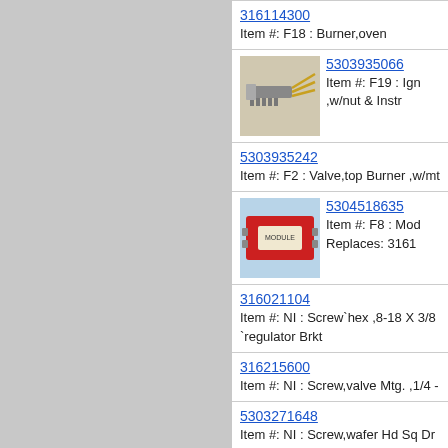316114300
Item #: F18 : Burner,oven
5303935066
Item #: F19 : Ign ,w/nut & Instr
5303935242
Item #: F2 : Valve,top Burner ,w/mt
5304518635
Item #: F8 : Mod
Replaces: 3161
316021104
Item #: NI : Screw`hex ,8-18 X 3/8 `regulator Brkt
316215600
Item #: NI : Screw,valve Mtg. ,1/4 -
5303271648
Item #: NI : Screw,wafer Hd Sq Dr
07 - Body